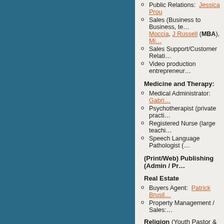Public Relations: Jessica Prou…
Sales (Business to Business, te… Moccia, J Russell (MBA), Mi…
Sales Support/Customer Relati…
Video production entrepreneur…
Medicine and Therapy:
Medical Administrator: Gabrie…
Psychotherapist (private practi…
Registered Nurse (large teachi…
Speech Language Pathologist (…
(Print/Web) Publishing (Admin / Pr…
Real Estate
Buyers Agent: Patrick Brusil…
Property Management / Sales:…
Religion (Youth Pastor & Admin. As…
TV/Radio/Film:
Food Stylist / Freelance Film P…